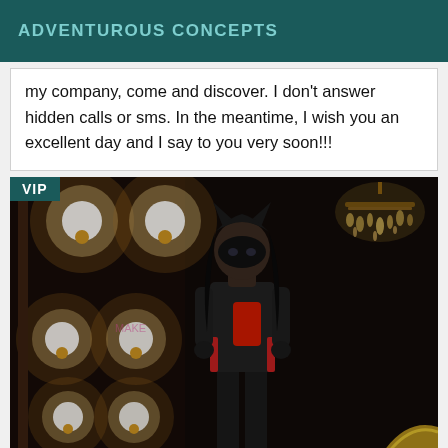ADVENTUROUS CONCEPTS
my company, come and discover. I don't answer hidden calls or sms. In the meantime, I wish you an excellent day and I say to you very soon!!!
[Figure (photo): A person dressed in a black catwoman-style costume with cat ears, a black mask, black leather outfit, and red phone, taking a selfie in a mirror surrounded by large round Edison bulb lights on the left, a crystal chandelier on the upper right, and a dark interior background. A 'VIP' badge is overlaid in the top-left corner.]